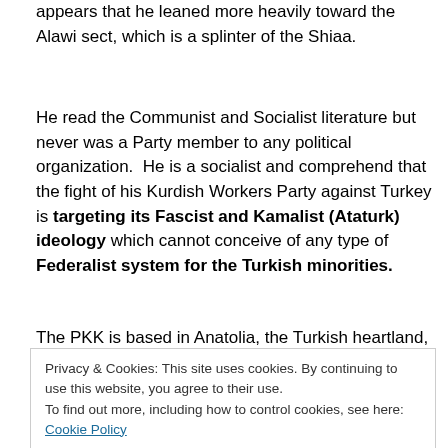appears that he leaned more heavily toward the Alawi sect, which is a splinter of the Shiaa.
He read the Communist and Socialist literature but never was a Party member to any political organization.  He is a socialist and comprehend that the fight of his Kurdish Workers Party against Turkey is targeting its Fascist and Kamalist (Ataturk) ideology which cannot conceive of any type of Federalist system for the Turkish minorities.
The PKK is based in Anatolia, the Turkish heartland,
Privacy & Cookies: This site uses cookies. By continuing to use this website, you agree to their use.
To find out more, including how to control cookies, see here: Cookie Policy
East or Levant of Syria, Lebanon, Palestine, and current